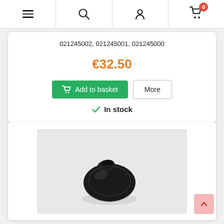Navigation bar with menu, search, account, and cart (0 items) icons
021245002, 021245001, 021245000
€32.50
Add to basket
More
In stock
[Figure (photo): Black rubber grommet or plug part photographed against a light grey background]